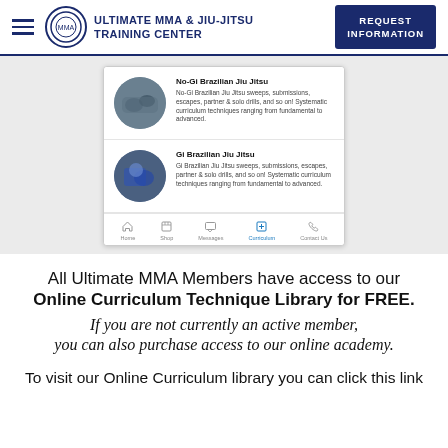ULTIMATE MMA & JIU-JITSU TRAINING CENTER | REQUEST INFORMATION
[Figure (screenshot): Mobile app screenshot showing two curriculum cards: 'No-Gi Brazilian Jiu Jitsu' and 'Gi Brazilian Jiu Jitsu', each with a circular photo and description text, with a bottom navigation bar showing Home, Shop, Messages, Curriculum (active), Contact Us.]
All Ultimate MMA Members have access to our Online Curriculum Technique Library for FREE. If you are not currently an active member, you can also purchase access to our online academy.
To visit our Online Curriculum library you can click this link